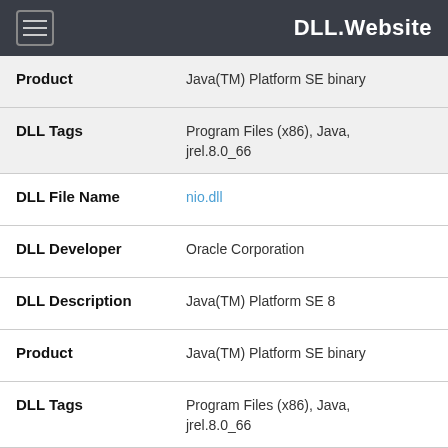DLL.Website
| Field | Value |
| --- | --- |
| Product | Java(TM) Platform SE binary |
| DLL Tags | Program Files (x86), Java, jrel.8.0_66 |
| DLL File Name | nio.dll |
| DLL Developer | Oracle Corporation |
| DLL Description | Java(TM) Platform SE 8 |
| Product | Java(TM) Platform SE binary |
| DLL Tags | Program Files (x86), Java, jrel.8.0_66 |
| DLL File N... |  |